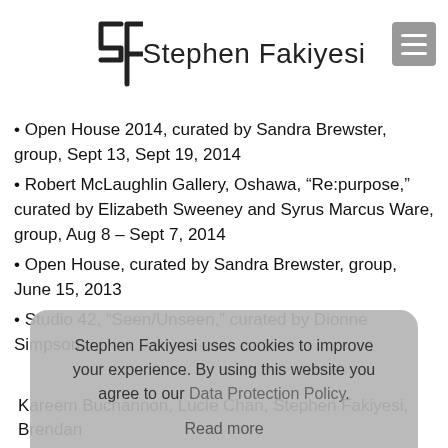Stephen Fakiyesi
Open House 2014, curated by Sandra Brewster, group, Sept 13, Sept 19, 2014
Robert McLaughlin Gallery, Oshawa, “Re:purpose,” curated by Elizabeth Sweeney and Syrus Marcus Ware, group, Aug 8 – Sept 7, 2014
Open House, curated by Sandra Brewster, group, June 15, 2013
Studio 42, “Seen/Unseen,” curated by Dionne Simpson, Toronto, running 21 Sept–21, 2013
Stephen Fakiyesi uses cookies to improve your experience. By using this website you agree to our Data Protection Policy.
Read more
Got it!
Kareem Buchannon, Lucie Chan, Stephen Fakiyesi, Brendan